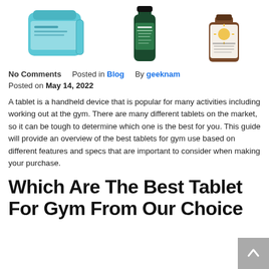[Figure (photo): Three product images arranged in a row: a blue pouch/bag on the left, a dark green supplement bottle in the center, and a brown glass bottle with a sun logo label on the right.]
No Comments    Posted in Blog    By geeknam
Posted on May 14, 2022
A tablet is a handheld device that is popular for many activities including working out at the gym. There are many different tablets on the market, so it can be tough to determine which one is the best for you. This guide will provide an overview of the best tablets for gym use based on different features and specs that are important to consider when making your purchase.
Which Are The Best Tablet For Gym From Our Choice